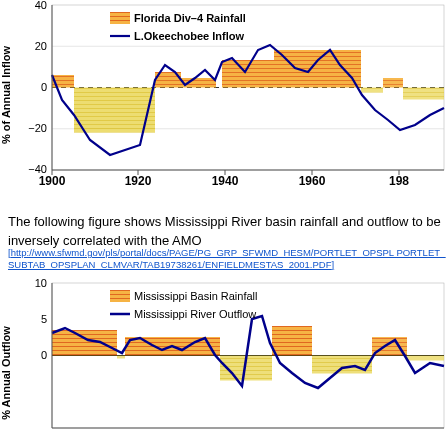[Figure (continuous-plot): Time series chart from 1900 to ~1990+ showing Florida Div-4 Rainfall (orange/yellow bars) and L.Okeechobee Inflow (blue line) as % of Annual Inflow, ranging from -40 to 40.]
The following figure shows Mississippi River basin rainfall and outflow to be inversely correlated with the AMO
[http://www.sfwmd.gov/pls/portal/docs/PAGE/PG_GRP_SFWMD_HESM/PORTLET_OPSPL PORTLET_SUBTAB_OPSPLAN_CLMVAR/TAB19738261/ENFIELDMESTAS_2001.PDF]
[Figure (continuous-plot): Time series chart showing Mississippi Basin Rainfall (orange/yellow bars) and Mississippi River Outflow (blue line) as % of Annual Outflow, ranging from approximately -10 to 10, starting around 1900.]